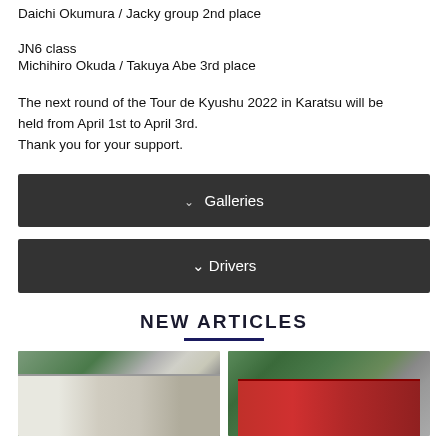Daichi Okumura / Jacky group 2nd place
JN6 class
Michihiro Okuda / Takuya Abe 3rd place
The next round of the Tour de Kyushu 2022 in Karatsu will be held from April 1st to April 3rd.
Thank you for your support.
Galleries
Drivers
NEW ARTICLES
[Figure (photo): Rally car with white and yellow livery on a forest road with smoke]
[Figure (photo): Red sports car on a winding mountain road with green trees]